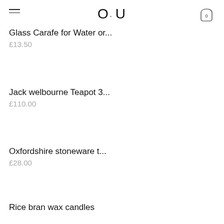O.U
Glass Carafe for Water or...
£13.50
Jack welbourne Teapot 3...
£110.00
Oxfordshire stoneware t...
£28.00
Rice bran wax candles